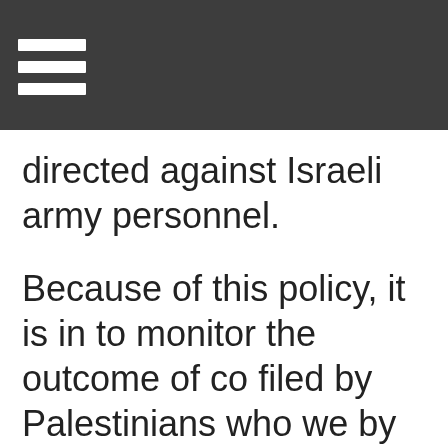directed against Israeli army personnel.
Because of this policy, it is in to monitor the outcome of co filed by Palestinians who we by Israelis in the West Bank, precludes the possibility of a outernal sanititing to the an f